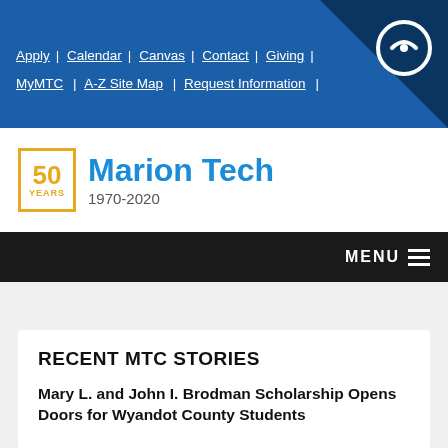Apply | Calendar | Canvas | Contact | Giving | MyMTC | A-Z Site Map | Request Information |
[Figure (logo): Marion Tech 50 Years 1970-2020 logo with gold bordered badge and blue text]
MENU
RECENT MTC STORIES
Mary L. and John I. Brodman Scholarship Opens Doors for Wyandot County Students